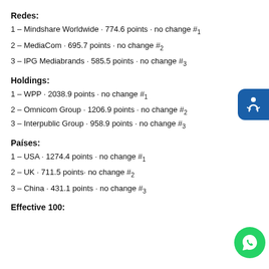Redes:
1 – Mindshare Worldwide · 774.6 points · no change #1
2 – MediaCom · 695.7 points · no change #2
3 – IPG Mediabrands · 585.5 points · no change #3
Holdings:
1 – WPP · 2038.9 points · no change #1
2 – Omnicom Group · 1206.9 points · no change #2
3 – Interpublic Group · 958.9 points · no change #3
Países:
1 – USA · 1274.4 points · no change #1
2 – UK · 711.5 points· no change #2
3 – China · 431.1 points · no change #3
Effective 100: